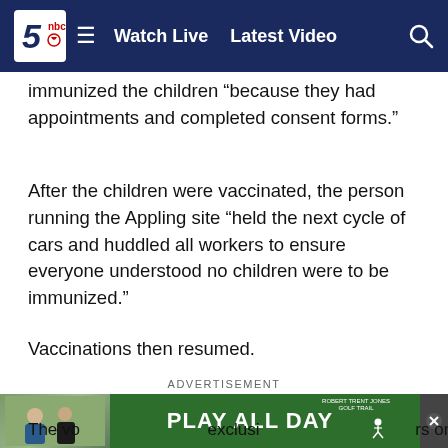Watch Live  Latest Video
immunized the children “because they had appointments and completed consent forms.”
After the children were vaccinated, the person running the Appling site “held the next cycle of cars and huddled all workers to ensure everyone understood no children were to be immunized.”
Vaccinations then resumed.
ADVERTISEMENT
[Figure (other): Advertisement placeholder reading DON’T SUFFER IN SILENCE]
[Figure (other): Bottom banner advertisement: photo of people on left, green PLAY ALL DAY golf advertisement on right]
The vo exclusi rs on